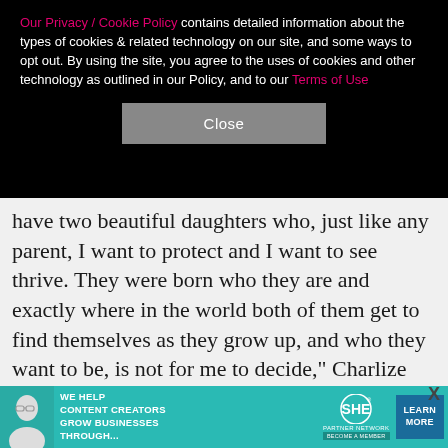Our Privacy / Cookie Policy contains detailed information about the types of cookies & related technology on our site, and some ways to opt out. By using the site, you agree to the uses of cookies and other technology as outlined in our Policy, and to our Terms of Use
Close
have two beautiful daughters who, just like any parent, I want to protect and I want to see thrive. They were born who they are and exactly where in the world both of them get to find themselves as they grow up, and who they want to be, is not for me to decide," Charlize added. "My job as a parent is to celebrate them and to love them and to make sure that they have everything they need in order to be what they want to be. And I will do everything in my power for my kids to have that rig
[Figure (infographic): Advertisement banner for SHE Media Partner Network: 'We help content creators grow businesses through...' with a Learn More button and Become a Member text]